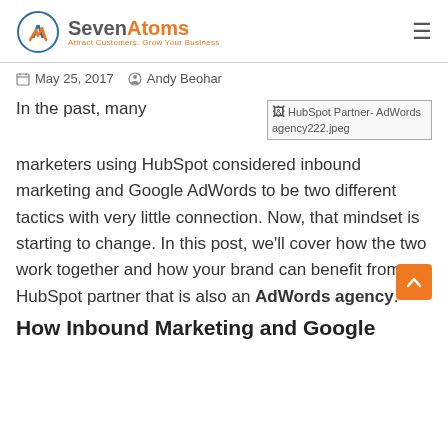SevenAtoms — Attract Customers, Grow Your Business
May 25, 2017  Andy Beohar
In the past, many marketers using HubSpot considered inbound marketing and Google AdWords to be two different tactics with very little connection. Now, that mindset is starting to change. In this post, we'll cover how the two work together and how your brand can benefit from a HubSpot partner that is also an AdWords agency.
How Inbound Marketing and Google